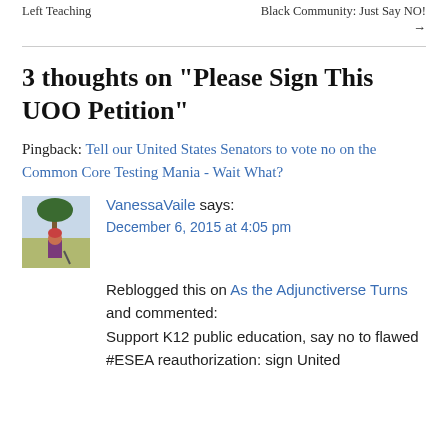Left Teaching   Black Community: Just Say NO!  →
3 thoughts on “Please Sign This UOO Petition”
Pingback: Tell our United States Senators to vote no on the Common Core Testing Mania - Wait What?
VanessaVaile says: December 6, 2015 at 4:05 pm
Reblogged this on As the Adjunctiverse Turns and commented: Support K12 public education, say no to flawed #ESEA reauthorization: sign United